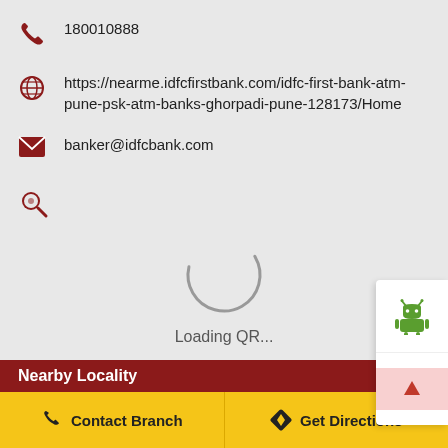180010888
https://nearme.idfcfirstbank.com/idfc-first-bank-atm-pune-psk-atm-banks-ghorpadi-pune-128173/Home
banker@idfcbank.com
[Figure (infographic): Loading QR spinner animation with text 'Loading QR...']
[Figure (infographic): Android robot icon (green) in white side panel button]
[Figure (infographic): Apple logo icon (black) in white side panel button]
Nearby Locality
Contact Branch
Get Directions